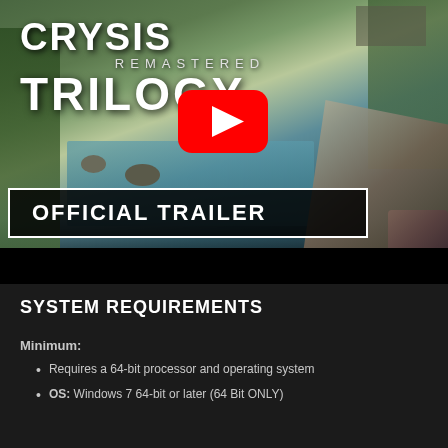[Figure (screenshot): Crysis Remastered Trilogy YouTube video thumbnail showing jungle/coastal scene with YouTube play button and 'OFFICIAL TRAILER' text overlay. Game logo shows 'CRYSIS REMASTERED TRILOGY' at top.]
SYSTEM REQUIREMENTS
Minimum:
Requires a 64-bit processor and operating system
OS: Windows 7 64-bit or later (64 Bit ONLY)